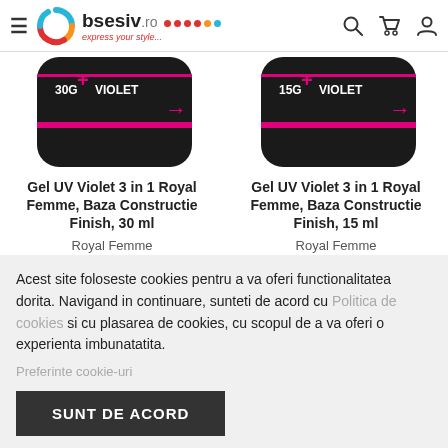Obsesiv.ro – express your style...
[Figure (photo): Two black nail gel product jars labeled VIOLET 30G and VIOLET 15G with pink accent and plus sign]
Gel UV Violet 3 in 1 Royal Femme, Baza Constructie Finish, 30 ml
Gel UV Violet 3 in 1 Royal Femme, Baza Constructie Finish, 15 ml
Royal Femme
Royal Femme
Gel UV Violet 3 in 1 Royal Femme,
Gel UV Violet 3 in 1 Royal Femme,
Acest site foloseste cookies pentru a va oferi functionalitatea dorita. Navigand in continuare, sunteti de acord cu Politica de cookies si cu plasarea de cookies, cu scopul de a va oferi o experienta imbunatatita.
Preferinte cookie-uri
SUNT DE ACORD